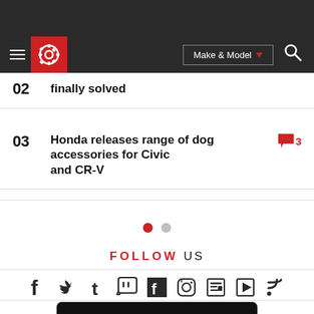CarGurus navigation bar with logo, Make & Model selector, and search
02 finally solved
03 Honda releases range of dog accessories for Civic and CR-V — 3 comments
FOLLOW US
[Figure (infographic): Social media icons row: Facebook, Twitter, Tumblr, Twitch, Flipboard, Instagram, News, Play/Video, RSS]